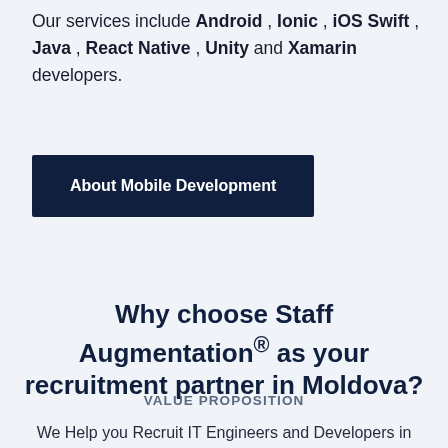Our services include Android , Ionic , iOS Swift , Java , React Native , Unity and Xamarin developers.
[Figure (other): Dark navy button labeled 'About Mobile Development']
Why choose Staff Augmentation® as your recruitment partner in Moldova?
VALUE PROPOSITION
We Help you Recruit IT Engineers and Developers in